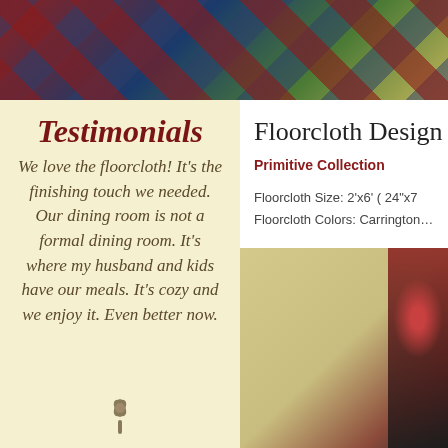[Figure (photo): Top banner showing a decorative quilt with red, blue, and green patchwork patterns]
Testimonials
We love the floorcloth! It's the finishing touch we needed. Our dining room is not a formal dining room. It's where my husband and kids have our meals. It's cozy and we enjoy it. Even better now.
Floorcloth Desig…
Primitive Collection
Floorcloth Size: 2'x6' ( 24"x7…
Floorcloth Colors: Carrington…
[Figure (photo): Bottom right photo showing a floorcloth with tan/khaki background and decorative floral pattern in reddish-brown tones]